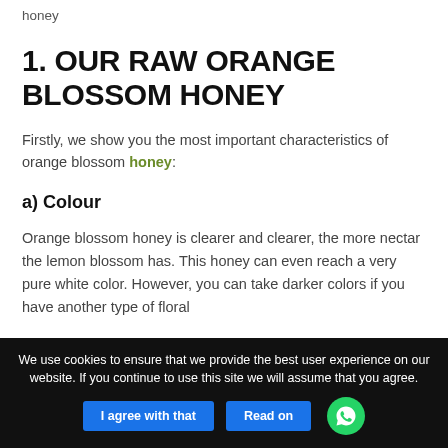honey
1. OUR RAW ORANGE BLOSSOM HONEY
Firstly, we show you the most important characteristics of orange blossom honey:
a) Colour
Orange blossom honey is clearer and clearer, the more nectar the lemon blossom has. This honey can even reach a very pure white color. However, you can take darker colors if you have another type of floral
We use cookies to ensure that we provide the best user experience on our website. If you continue to use this site we will assume that you agree.